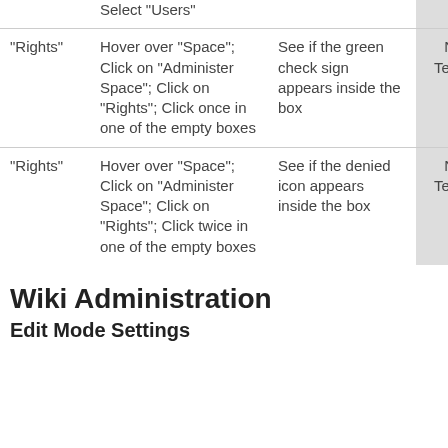|  | Steps | Expected Result | Status |  |
| --- | --- | --- | --- | --- |
|  | Select "Users" |  | Not Tested | - |
| "Rights" | Hover over "Space"; Click on "Administer Space"; Click on "Rights"; Click once in one of the empty boxes | See if the green check sign appears inside the box | Not Tested | - |
| "Rights" | Hover over "Space"; Click on "Administer Space"; Click on "Rights"; Click twice in one of the empty boxes | See if the denied icon appears inside the box | Not Tested | - |
Wiki Administration
Edit Mode Settings